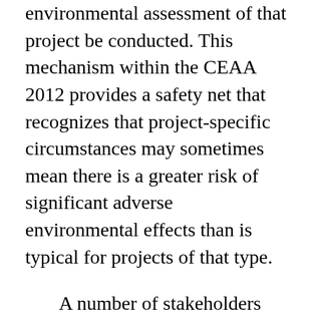environmental assessment of that project be conducted. This mechanism within the CEAA 2012 provides a safety net that recognizes that project-specific circumstances may sometimes mean there is a greater risk of significant adverse environmental effects than is typical for projects of that type.
A number of stakeholders also expressed concern about the “life cycle” wording used in the Regulations (i.e. the “construction, operation, decommissioning and abandonment” of a facility) indicating that, in their view, the intent of this